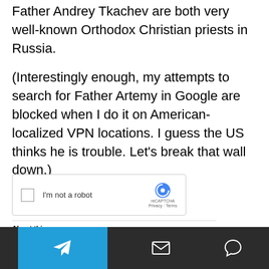Father Andrey Tkachev are both very well-known Orthodox Christian priests in Russia.
(Interestingly enough, my attempts to search for Father Artemy in Google are blocked when I do it on American-localized VPN locations. I guess the US thinks he is trouble. Let's break that wall down.)
[Figure (screenshot): Google CAPTCHA screenshot showing 'I'm not a robot' reCAPTCHA checkbox, followed by 'About this page' section with blocked search details including IP address 99.51.206.125, Time: 2022-03-29T10:04:01Z, and a Google search URL for father artemy vladimirov.]
Telegram icon | Mail icon | Chat icon